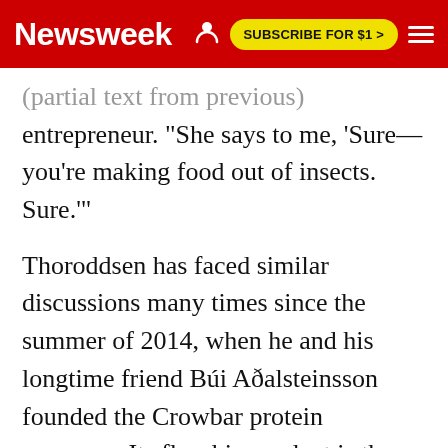Newsweek | SUBSCRIBE FOR $1 >
entrepreneur. "She says to me, 'Sure—you're making food out of insects. Sure.'"
Thoroddsen has faced similar discussions many times since the summer of 2014, when he and his longtime friend Búi Aðalsteinsson founded the Crowbar protein company. Its flagship product is the Jungle Bar, a protein bar with a savory, cranberry-heavy flavor, slightly tangy aftertaste and pleasingly chewy texture of brown rice and quinoa. However, one main ingredient is more exotic than